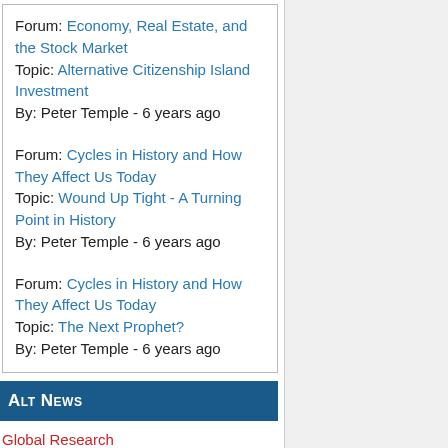Forum: Economy, Real Estate, and the Stock Market
Topic: Alternative Citizenship Island Investment
By: Peter Temple - 6 years ago
Forum: Cycles in History and How They Affect Us Today
Topic: Wound Up Tight - A Turning Point in History
By: Peter Temple - 6 years ago
Forum: Cycles in History and How They Affect Us Today
Topic: The Next Prophet?
By: Peter Temple - 6 years ago
Alt News
Global Research
Information Clearing House
Info Wars